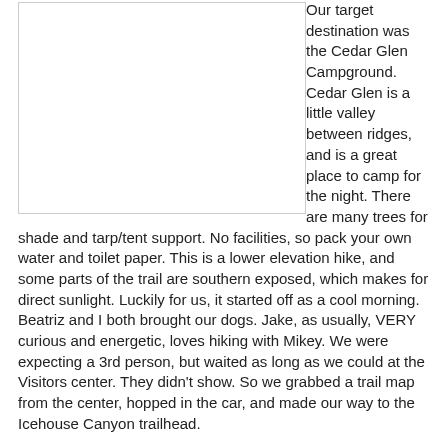[Figure (photo): A white/blank rectangular photo placeholder in the upper left portion of the page]
Our target destination was the Cedar Glen Campground. Cedar Glen is a little valley between ridges, and is a great place to camp for the night. There are many trees for shade and tarp/tent support. No facilities, so pack your own water and toilet paper. This is a lower elevation hike, and some parts of the trail are southern exposed, which makes for direct sunlight. Luckily for us, it started off as a cool morning. Beatriz and I both brought our dogs. Jake, as usually, VERY curious and energetic, loves hiking with Mikey. We were expecting a 3rd person, but waited as long as we could at the Visitors center. They didn't show. So we grabbed a trail map from the center, hopped in the car, and made our way to the Icehouse Canyon trailhead.
The trail is rocky! You should consider wearing a sturdy pair of hiking boots on this hike. I had brought dog booties for Jake just in case.
The initial phase of the hike took us up these rock stairs, cut into the